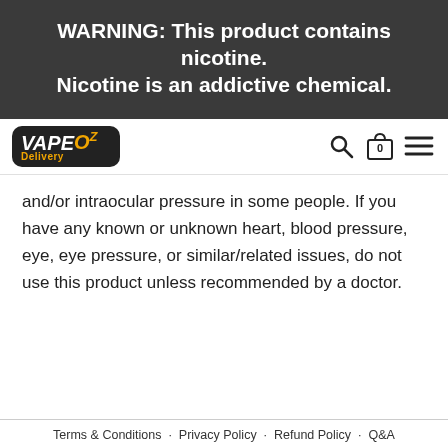WARNING: This product contains nicotine. Nicotine is an addictive chemical.
[Figure (logo): Vape Oz Delivery logo — black badge with white bold italic VAPE text, orange OZ, and orange Delivery text below]
and/or intraocular pressure in some people. If you have any known or unknown heart, blood pressure, eye, eye pressure, or similar/related issues, do not use this product unless recommended by a doctor.
Terms & Conditions  ·  Privacy Policy  ·  Refund Policy  ·  Q&A